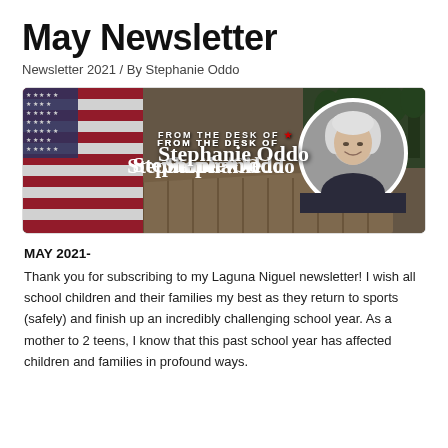May Newsletter
Newsletter 2021 / By Stephanie Oddo
[Figure (photo): Banner image with American flag on the left, a wooden bridge in the background, text 'FROM THE DESK OF Stephanie Oddo' in the center, and a circular portrait photo of Stephanie Oddo (woman with white/gray hair) on the right.]
MAY 2021-
Thank you for subscribing to my Laguna Niguel newsletter!  I wish all school children and their families my best as they return to sports (safely) and finish up an incredibly challenging school year. As a mother to 2 teens, I know that this past school year has affected children and families in profound ways.